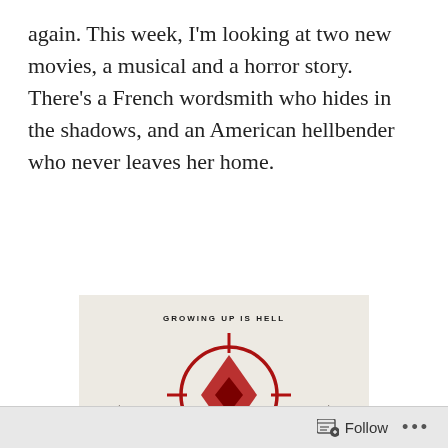again. This week, I'm looking at two new movies, a musical and a horror story. There's a French wordsmith who hides in the shadows, and an American hellbender who never leaves her home.
[Figure (photo): Movie poster for 'Hellbender' with tagline 'GROWING UP IS HELL'. Features a dark horned figure with a red circular crosshair symbol above, on a light beige background. The title 'hellbender' is written in gothic/blackletter font at the bottom.]
Follow ···